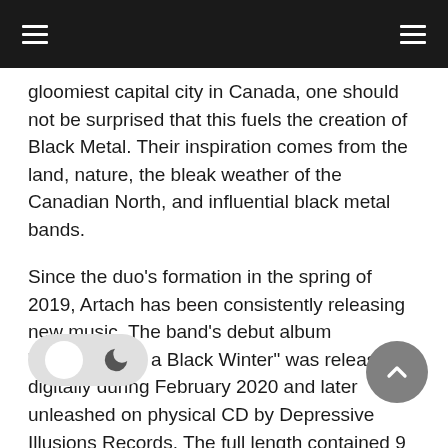gloomiest capital city in Canada, one should not be surprised that this fuels the creation of Black Metal. Their inspiration comes from the land, nature, the bleak weather of the Canadian North, and influential black metal bands.
Since the duo’s formation in the spring of 2019, Artach has been consistently releasing new music. The band’s debut album “Chronicles of a Black Winter” was released digitally during February 2020 and later unleashed on physical CD by Depressive Illusions Records. The full length contained 9 songs of extreme, harsh, and haunting sounds which included a cover of Celtic Frost’s ‘Jewel Throne’.